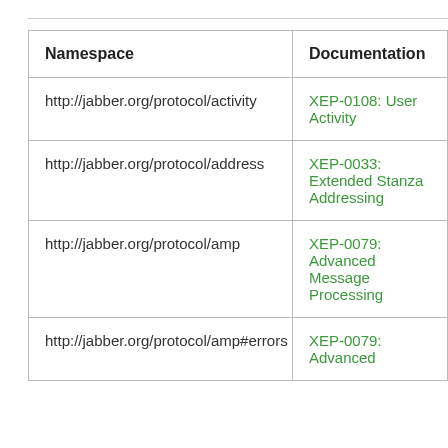| Namespace | Documentation |
| --- | --- |
| http://jabber.org/protocol/activity | XEP-0108: User Activity |
| http://jabber.org/protocol/address | XEP-0033: Extended Stanza Addressing |
| http://jabber.org/protocol/amp | XEP-0079: Advanced Message Processing |
| http://jabber.org/protocol/amp#errors | XEP-0079: Advanced |